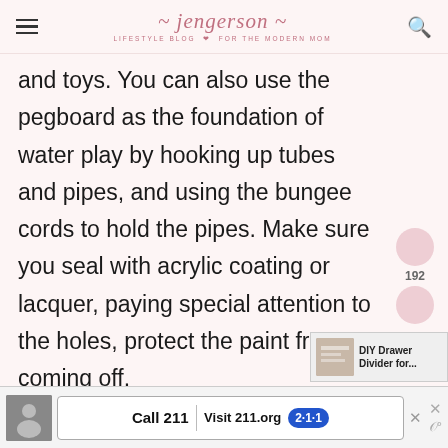jengerson — LIFESTYLE BLOG FOR THE MODERN MOM
and toys. You can also use the pegboard as the foundation of water play by hooking up tubes and pipes, and using the bungee cords to hold the pipes. Make sure you seal with acrylic coating or lacquer, paying special attention to the holes, protect the paint from coming off.
[Figure (infographic): Social share sidebar with two circular pink icons and share count of 192]
[Figure (infographic): Small ad widget thumbnail with text 'DIY Drawer Divider for...']
[Figure (infographic): Bottom banner advertisement: Call 211 | Visit 211.org with 2-1-1 badge logo]